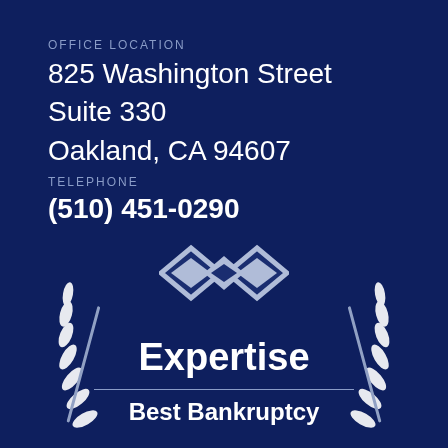OFFICE LOCATION
825 Washington Street
Suite 330
Oakland, CA 94607
TELEPHONE
(510) 451-0290
[Figure (logo): Expertise award badge with interlocking diamond logo, laurel wreaths on sides, text reading 'Expertise' and 'Best Bankruptcy']